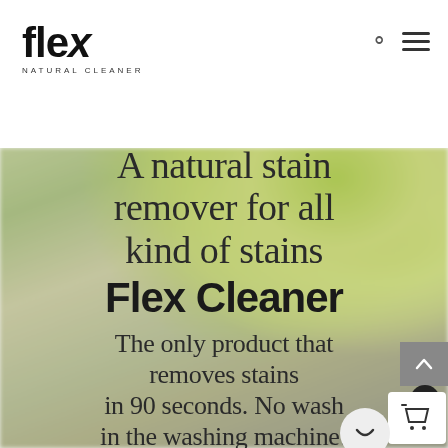[Figure (logo): Flex Natural Cleaner logo — large stylized lowercase 'flex' wordmark with italic x, subtitle 'NATURAL CLEANER' in small caps below]
[Figure (screenshot): Website hero section with blurred green leaf background. Large overlay text reads: 'A natural stain remover for all kind of stains Flex Cleaner — The only product that removes stains in 90 seconds. No wash in the washing machine!' Scroll-to-top button (grey), shopping cart widget with badge '0' visible in lower right.]
A natural stain remover for all kind of stains Flex Cleaner
The only product that removes stains in 90 seconds. No wash in the washing machine!